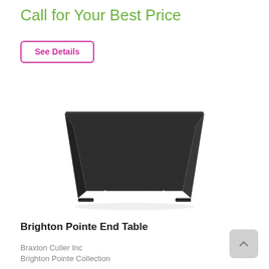Call for Your Best Price
See Details
[Figure (photo): Dark charcoal woven wicker outdoor end table with flat top surface and arched leg base, Brighton Pointe End Table product photo on white background]
Brighton Pointe End Table
Braxton Culler Inc
Brighton Pointe Collection